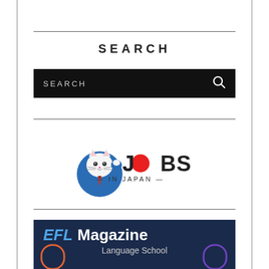SEARCH
[Figure (screenshot): Black search bar with text SEARCH and magnifying glass icon on right]
[Figure (logo): Jobs in Japan logo: cartoon maneki-neko cat in blue suit with JOBS IN JAPAN text, O replaced by red circle]
[Figure (illustration): EFL Magazine Language School banner with blue/dark navy background, EFL in blue italic bold text, Magazine in white bold text, Language School subtitle, decorative arch shapes at bottom corners]